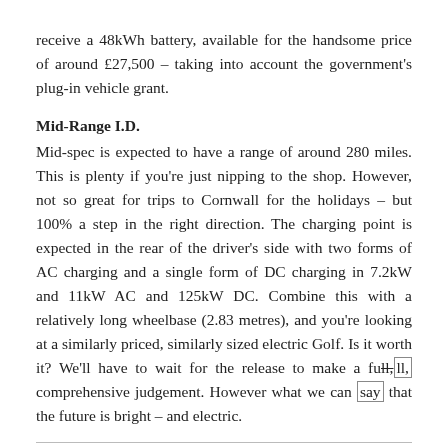receive a 48kWh battery, available for the handsome price of around £27,500 – taking into account the government's plug-in vehicle grant.
Mid-Range I.D.
Mid-spec is expected to have a range of around 280 miles. This is plenty if you're just nipping to the shop. However, not so great for trips to Cornwall for the holidays – but 100% a step in the right direction. The charging point is expected in the rear of the driver's side with two forms of AC charging and a single form of DC charging in 7.2kW and 11kW AC and 125kW DC. Combine this with a relatively long wheelbase (2.83 metres), and you're looking at a similarly priced, similarly sized electric Golf. Is it worth it? We'll have to wait for the release to make a full, comprehensive judgement. However what we can say that the future is bright – and electric.